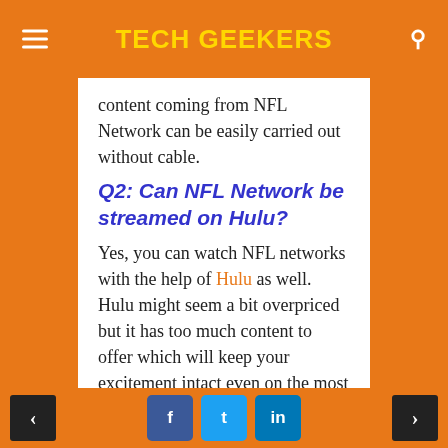TECH GEEKERS
content coming from NFL Network can be easily carried out without cable.
Q2: Can NFL Network be streamed on Hulu?
Yes, you can watch NFL networks with the help of Hulu as well. Hulu might seem a bit overpriced but it has too much content to offer which will keep your excitement intact even on the most boring days.
Q3: Is there a streaming service of their own in case of NFL Network?